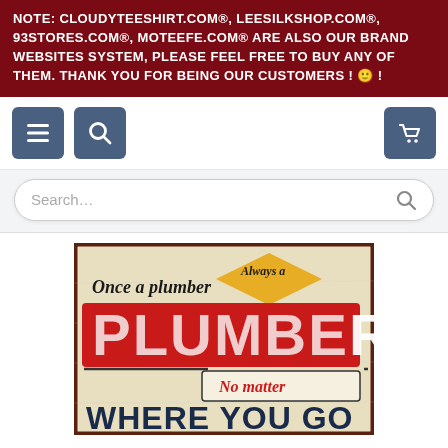NOTE: CLOUDYTEESHIRT.COM®, LEESILKSHOP.COM®, 93STORES.COM®, MOTEEFE.COM® ARE ALSO OUR BRAND WEBSITES SYSTEM, PLEASE FEEL FREE TO BUY ANY OF THEM. THANK YOU FOR BEING OUR CUSTOMERS ! 🙂 !
[Figure (screenshot): Navigation bar with menu (hamburger), search, and cart icons on a white background]
[Figure (screenshot): Search bar with placeholder text 'Search...' and search icon on a light grey background]
[Figure (illustration): Vintage retro tin sign: 'Once a plumber Always a PLUMBER No matter WHERE YOU GO' with distressed red, cream, and dark blue lettering on an aged background]